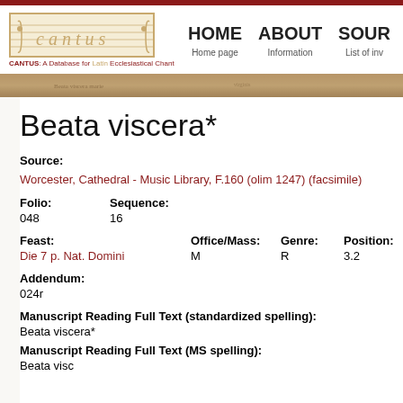CANTUS: A Database for Latin Ecclesiastical Chant | HOME Home page | ABOUT Information | SOUR List of inv
Beata viscera*
Source:
Worcester, Cathedral - Music Library, F.160 (olim 1247) (facsimile)
Folio: 048    Sequence: 16
Feast: Die 7 p. Nat. Domini    Office/Mass: M    Genre: R    Position: 3.2    Cantu: 00617
Addendum: 024r
Manuscript Reading Full Text (standardized spelling): Beata viscera*
Manuscript Reading Full Text (MS spelling): Beata visc...